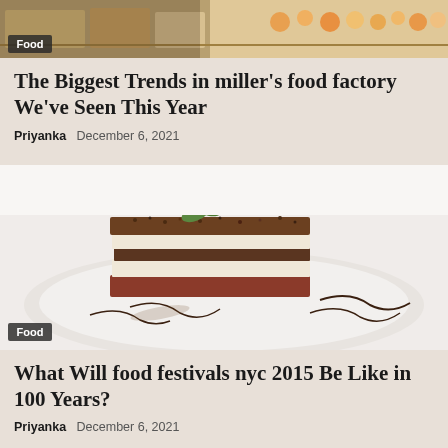[Figure (photo): A bakery display case with pastries and food items, with a 'Food' category badge overlay]
The Biggest Trends in miller's food factory We've Seen This Year
Priyanka   December 6, 2021
[Figure (photo): A slice of layered tiramisu or dessert cake on a white plate with chocolate sauce drizzle, with a 'Food' category badge overlay]
What Will food festivals nyc 2015 Be Like in 100 Years?
Priyanka   December 6, 2021